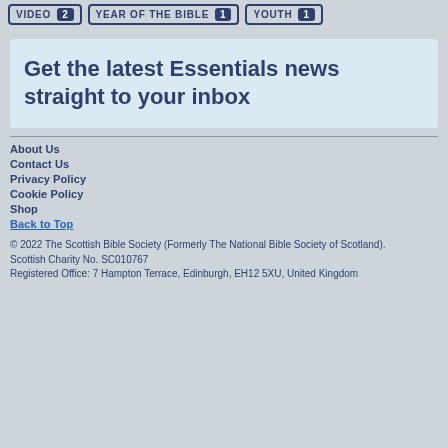VIDEO 2
YEAR OF THE BIBLE 1
YOUTH 1
Get the latest Essentials news straight to your inbox
About Us
Contact Us
Privacy Policy
Cookie Policy
Shop
Back to Top
© 2022 The Scottish Bible Society (Formerly The National Bible Society of Scotland).
Scottish Charity No. SC010767
Registered Office: 7 Hampton Terrace, Edinburgh, EH12 5XU, United Kingdom